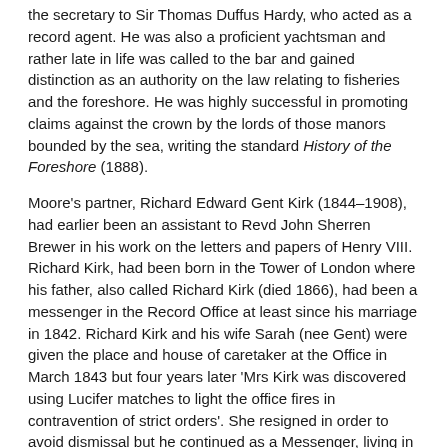the secretary to Sir Thomas Duffus Hardy, who acted as a record agent. He was also a proficient yachtsman and rather late in life was called to the bar and gained distinction as an authority on the law relating to fisheries and the foreshore. He was highly successful in promoting claims against the crown by the lords of those manors bounded by the sea, writing the standard History of the Foreshore (1888).
Moore's partner, Richard Edward Gent Kirk (1844–1908), had earlier been an assistant to Revd John Sherren Brewer in his work on the letters and papers of Henry VIII. Richard Kirk, had been born in the Tower of London where his father, also called Richard Kirk (died 1866), had been a messenger in the Record Office at least since his marriage in 1842. Richard Kirk and his wife Sarah (nee Gent) were given the place and house of caretaker at the Office in March 1843 but four years later 'Mrs Kirk was discovered using Lucifer matches to light the office fires in contravention of strict orders'. She resigned in order to avoid dismissal but he continued as a Messenger, living in Islington. Their son Richard E. G. Kirk was also a Messenger in the Record Office, aged 17 in 1861, but later worked as a record agent on his own account with an office at 27 Chancery Lane, being recommended by Walter Rye in 1888 and 1897. He and his son, Ernest Frederick Kirk (c.1880–1956), also a record agent, edited the four volumes of Returns of Aliens in ... London, 1523–1625 (1900–8) for the Huguenot Society. He was an early member of the Society of Genealogists and as an agent was still